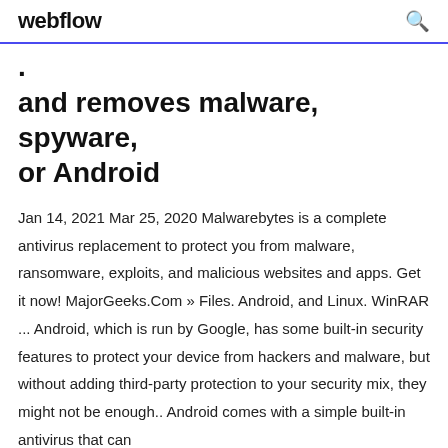webflow
. and removes malware, spyware, or Android
Jan 14, 2021 Mar 25, 2020 Malwarebytes is a complete antivirus replacement to protect you from malware, ransomware, exploits, and malicious websites and apps. Get it now! MajorGeeks.Com » Files. Android, and Linux. WinRAR ... Android, which is run by Google, has some built-in security features to protect your device from hackers and malware, but without adding third-party protection to your security mix, they might not be enough.. Android comes with a simple built-in antivirus that can